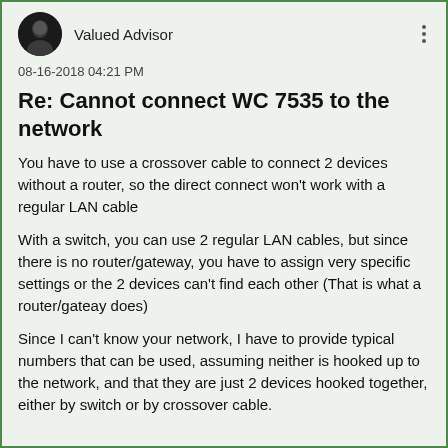Valued Advisor
08-16-2018 04:21 PM
Re: Cannot connect WC 7535 to the network
You have to use a crossover cable to connect 2 devices without a router, so the direct connect won't work with a regular LAN cable
With a switch, you can use 2 regular LAN cables, but since there is no router/gateway, you have to assign very specific settings or the 2 devices can't find each other (That is what a router/gateay does)
Since I can't know your network, I have to provide typical numbers that can be used, assuming neither is hooked up to the network, and that they are just 2 devices hooked together, either by switch or by crossover cable.